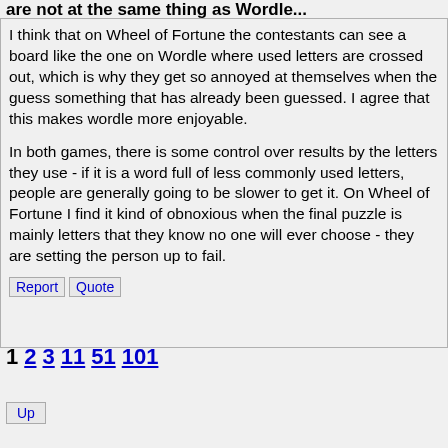I think that on Wheel of Fortune the contestants can see a board like the one on Wordle where used letters are crossed out, which is why they get so annoyed at themselves when the guess something that has already been guessed. I agree that this makes wordle more enjoyable.

In both games, there is some control over results by the letters they use - if it is a word full of less commonly used letters, people are generally going to be slower to get it. On Wheel of Fortune I find it kind of obnoxious when the final puzzle is mainly letters that they know no one will ever choose - they are setting the person up to fail.
Report  Quote
1 2 3 11 51 101
Up